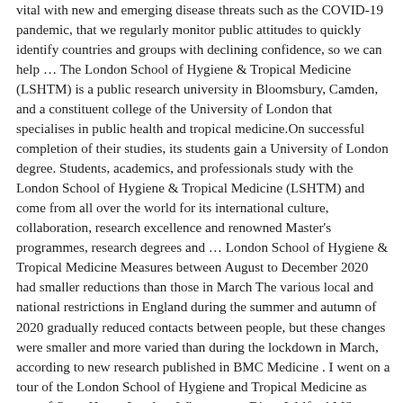vital with new and emerging disease threats such as the COVID-19 pandemic, that we regularly monitor public attitudes to quickly identify countries and groups with declining confidence, so we can help … The London School of Hygiene & Tropical Medicine (LSHTM) is a public research university in Bloomsbury, Camden, and a constituent college of the University of London that specialises in public health and tropical medicine.On successful completion of their studies, its students gain a University of London degree. Students, academics, and professionals study with the London School of Hygiene & Tropical Medicine (LSHTM) and come from all over the world for its international culture, collaboration, research excellence and renowned Master's programmes, research degrees and … London School of Hygiene & Tropical Medicine Measures between August to December 2020 had smaller reductions than those in March The various local and national restrictions in England during the summer and autumn of 2020 gradually reduced contacts between people, but these changes were smaller and more varied than during the lockdown in March, according to new research published in BMC Medicine . I went on a tour of the London School of Hygiene and Tropical Medicine as part of Open House London. Who we are. Diana Walford MSc Scholarships At London School of Hygiene & Tropical Medicine LSHTM in UK, 2020. Rankings of London School of Hygiene & Tropical Medicine -- Shanghai 2020: 201-300, Leiden 2020: 23 Fully Funded Masters in Medical Statistics LSHTM 2020. Applicants can apply online through LSHTM.